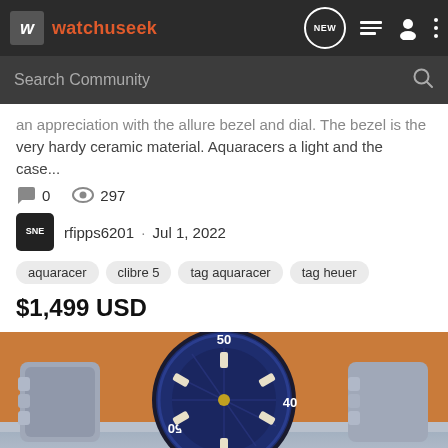watchuseek — navigation bar with search
...an appreciation with the allure bezel and dial. The bezel is the very hardy ceramic material. Aquaracers a light and the case...
0 comments · 297 views
rfipps6201 · Jul 1, 2022
aquaracer
clibre 5
tag aquaracer
tag heuer
$1,499 USD
[Figure (photo): Close-up photo of a Tag Heuer Aquaracer watch with blue bezel and dial showing hour markers and luminous indices, on a wooden surface with metallic bracelet visible, with image count badge showing 6]